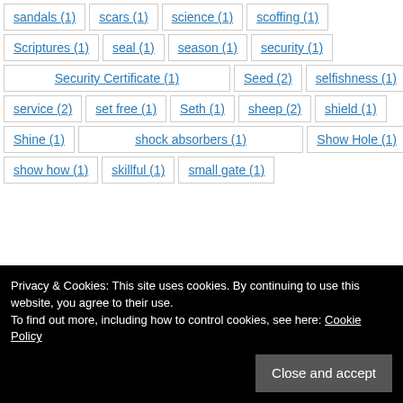sandals (1)
scars (1)
science (1)
scoffing (1)
Scriptures (1)
seal (1)
season (1)
security (1)
Security Certificate (1)
Seed (2)
selfishness (1)
service (2)
set free (1)
Seth (1)
sheep (2)
shield (1)
Shine (1)
shock absorbers (1)
Show Hole (1)
show how (1)
skillful (1)
small gate (1)
Privacy & Cookies: This site uses cookies. By continuing to use this website, you agree to their use. To find out more, including how to control cookies, see here: Cookie Policy
Close and accept